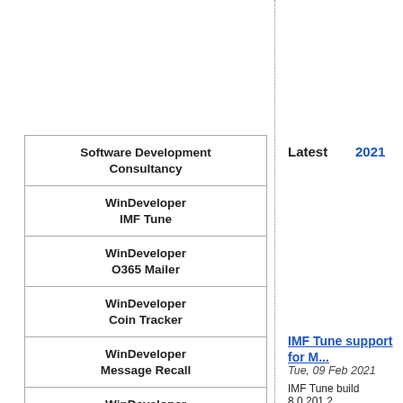| Software Development Consultancy |
| WinDeveloper
IMF Tune |
| WinDeveloper
O365 Mailer |
| WinDeveloper
Coin Tracker |
| WinDeveloper
Message Recall |
| WinDeveloper
TNEF View |
| WinDeveloper
Labs |
Latest   2021   2020
IMF Tune support for ...
Tue, 09 Feb 2021
IMF Tune build 8.0.201.2...